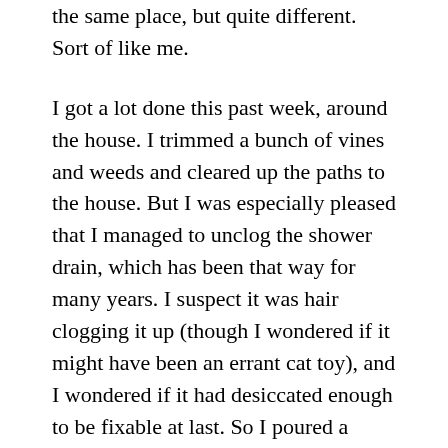the same place, but quite different. Sort of like me.
I got a lot done this past week, around the house. I trimmed a bunch of vines and weeds and cleared up the paths to the house. But I was especially pleased that I managed to unclog the shower drain, which has been that way for many years. I suspect it was hair clogging it up (though I wondered if it might have been an errant cat toy), and I wondered if it had desiccated enough to be fixable at last. So I poured a bottle of Drano down, and it seemed like it was a little better. So I got another bottle, and sure enough another round did the trick. The next morning I was happy to take a